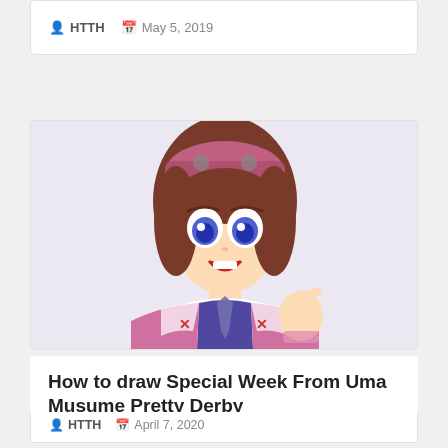HTTH   May 5, 2019
[Figure (illustration): Colored pencil drawing of Special Week from Uma Musume Pretty Derby anime — a girl with short brown/pink hair, large blue eyes, open mouth, wearing a pink racing jacket over a white and purple outfit, raising one hand.]
How to draw Special Week From Uma Musume Pretty Derby
HTTH   April 7, 2020
[Figure (illustration): Partial bottom card showing a blue sky and clouds scene with green anime characters/figures at the bottom, partially visible.]